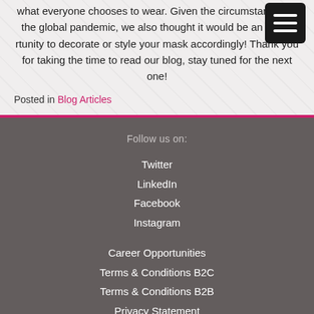what everyone chooses to wear. Given the circumstances of the global pandemic, we also thought it would be an opportunity to decorate or style your mask accordingly! Thank you for taking the time to read our blog, stay tuned for the next one!
Posted in Blog Articles
Follow us on:
Twitter
LinkedIn
Facebook
Instagram
Career Opportunities
Terms & Conditions B2C
Terms & Conditions B2B
Privacy Statement
Cookies